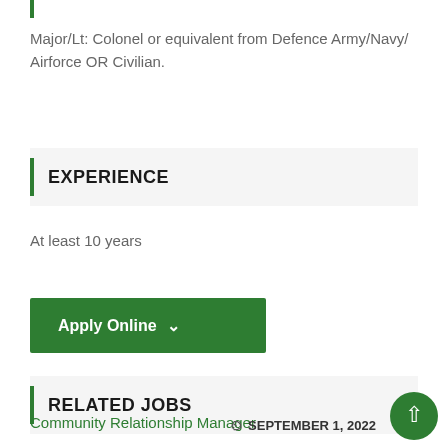Major/Lt: Colonel or equivalent from Defence Army/Navy/Airforce OR Civilian.
EXPERIENCE
At least 10 years
[Figure (other): Apply Online button with green background and chevron icon]
RELATED JOBS
Community Relationship Manager
SEPTEMBER 1, 2022